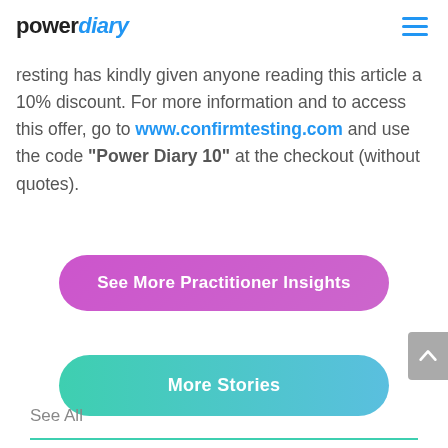powerdiary
resting has kindly given anyone reading this article a 10% discount. For more information and to access this offer, go to www.confirmtesting.com and use the code "Power Diary 10" at the checkout (without quotes).
[Figure (other): Pink/purple rounded button labeled 'See More Practitioner Insights']
[Figure (other): Teal gradient rounded button labeled 'More Stories']
See All